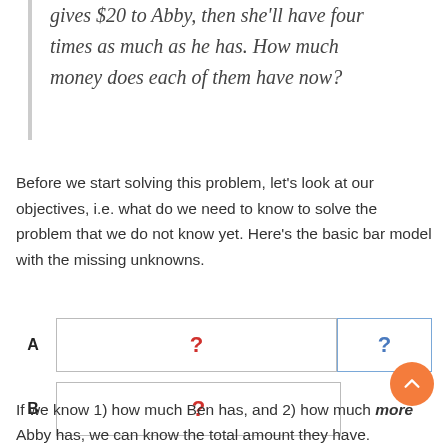gives $20 to Abby, then she'll have four times as much as he has. How much money does each of them have now?
Before we start solving this problem, let's look at our objectives, i.e. what do we need to know to solve the problem that we do not know yet. Here's the basic bar model with the missing unknowns.
[Figure (infographic): Bar model diagram with two rows. Row A has two segments (large and small), each containing a red question mark. Row B has one segment containing a red question mark. The label A is on the left of row A and B is on the left of row B.]
If we know 1) how much Ben has, and 2) how much more Abby has, we can know the total amount they have.